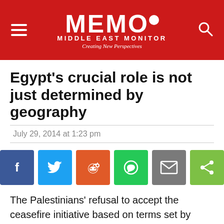MEMO MIDDLE EAST MONITOR — Creating New Perspectives
Egypt's crucial role is not just determined by geography
July 29, 2014 at 1:23 pm
[Figure (infographic): Social media share buttons: Facebook, Twitter, Reddit, WhatsApp, Email, Share]
The Palestinians' refusal to accept the ceasefire initiative based on terms set by Israel is probably the first time that they have